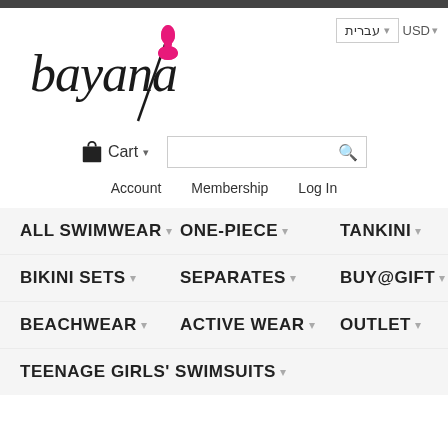[Figure (logo): Bayana swimwear logo with handwritten-style text and pink flower/clover icon]
עברית ▾  USD ▾
🛒 Cart ▾  [search box]
Account   Membership   Log In
ALL SWIMWEAR ▾
ONE-PIECE ▾
TANKINI ▾
BIKINI SETS ▾
SEPARATES ▾
BUY@GIFT ▾
BEACHWEAR ▾
ACTIVE WEAR ▾
OUTLET ▾
TEENAGE GIRLS' SWIMSUITS ▾